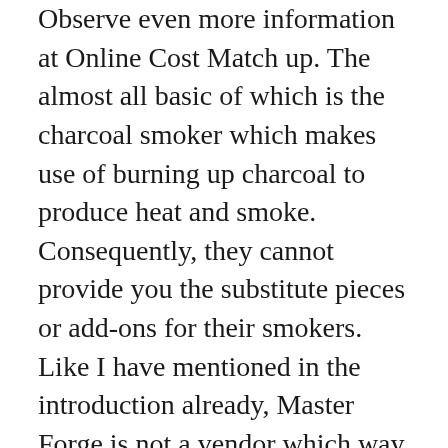Observe even more information at Online Cost Match up. The almost all basic of which is the charcoal smoker which makes use of burning up charcoal to produce heat and smoke. Consequently, they cannot provide you the substitute pieces or add-ons for their smokers. Like I have mentioned in the introduction already, Master Forge is not a vendor which way that they can't provide you substitute sections or extras for their smokers.
The Get good at Forge electric smoker is common and works